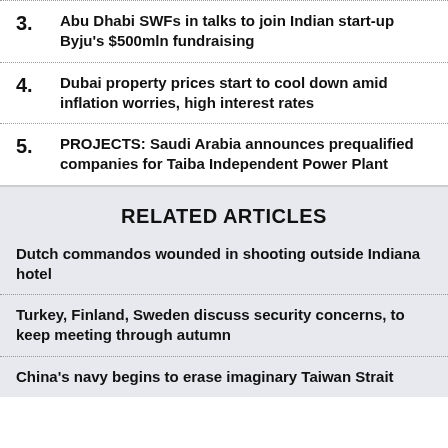3. Abu Dhabi SWFs in talks to join Indian start-up Byju's $500mln fundraising
4. Dubai property prices start to cool down amid inflation worries, high interest rates
5. PROJECTS: Saudi Arabia announces prequalified companies for Taiba Independent Power Plant
RELATED ARTICLES
Dutch commandos wounded in shooting outside Indiana hotel
Turkey, Finland, Sweden discuss security concerns, to keep meeting through autumn
China's navy begins to erase imaginary Taiwan Strait